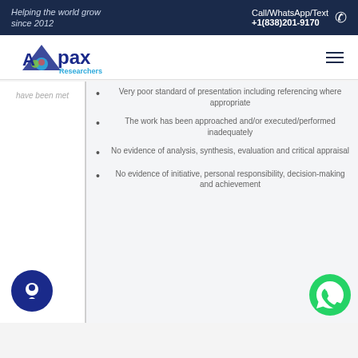Helping the world grow since 2012 | Call/WhatsApp/Text +1(838)201-9170
[Figure (logo): Apax Researchers logo with triangular icon and colorful circular design]
have been met
Very poor standard of presentation including referencing where appropriate
The work has been approached and/or executed/performed inadequately
No evidence of analysis, synthesis, evaluation and critical appraisal
No evidence of initiative, personal responsibility, decision-making and achievement